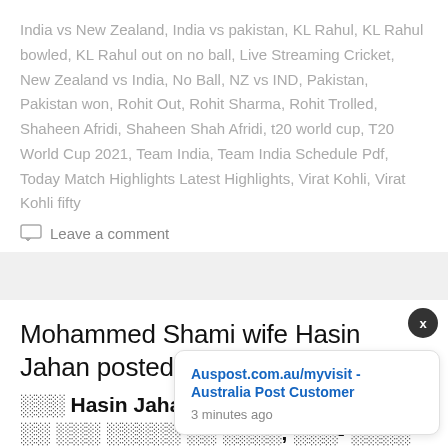India vs New Zealand, India vs pakistan, KL Rahul, KL Rahul bowled, KL Rahul out on no ball, Live Streaming Cricket, New Zealand vs India, No Ball, NZ vs IND, Pakistan, Pakistan won, Rohit Out, Rohit Sharma, Rohit Trolled, Shaheen Afridi, Shaheen Shah Afridi, t20 world cup, T20 World Cup 2021, Team India, Team India Schedule Pdf, Today Match Highlights Latest Highlights, Virat Kohli, Virat Kohli fifty
Leave a comment
Mohammed Shami wife Hasin Jahan posted a photo with a very special person saying Previous love |Mo… Hasin Jahan …
Auspost.com.au/myvisit - Australia Post Customer 3 minutes ago